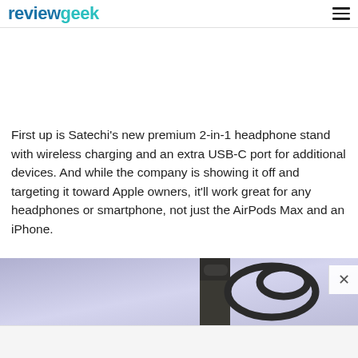reviewgeek
First up is Satechi's new premium 2-in-1 headphone stand with wireless charging and an extra USB-C port for additional devices. And while the company is showing it off and targeting it toward Apple owners, it'll work great for any headphones or smartphone, not just the AirPods Max and an iPhone.
[Figure (photo): Partial product photo showing a headphone stand with cable on a purple/lavender background]